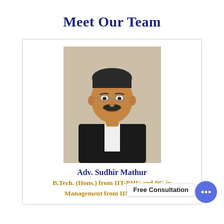Meet Our Team
[Figure (photo): Professional headshot of Adv. Sudhir Mathur, a middle-aged man wearing glasses, a black blazer, and white shirt, photographed against a beige background.]
Adv. Sudhir Mathur
Free Consultation
B.Tech. (Hons.) from IIT-BHU and PG in Management from IIM, Calcutta